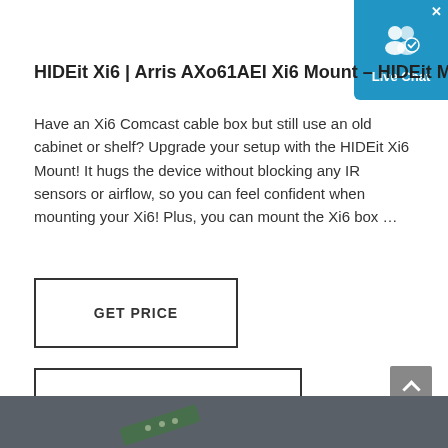HIDEit Xi6 | Arris AXo61AEI Xi6 Mount – HIDEit M…
Have an Xi6 Comcast cable box but still use an old cabinet or shelf? Upgrade your setup with the HIDEit Xi6 Mount! It hugs the device without blocking any IR sensors or airflow, so you can feel confident when mounting your Xi6! Plus, you can mount the Xi6 box …
[Figure (screenshot): GET PRICE button — rectangular outlined button with bold uppercase text]
[Figure (screenshot): CHAT WITH WHATSAPP button — rectangular outlined button with bold uppercase text]
[Figure (screenshot): Live Chat widget in top-right corner — blue box with person icon and 'Live Chat' label, with X close button]
[Figure (screenshot): Scroll-to-top button — grey square with upward arrow chevron, bottom right]
[Figure (photo): Partial product photo at bottom of page showing a dark grey background with a green circuit board / mount product partially visible]